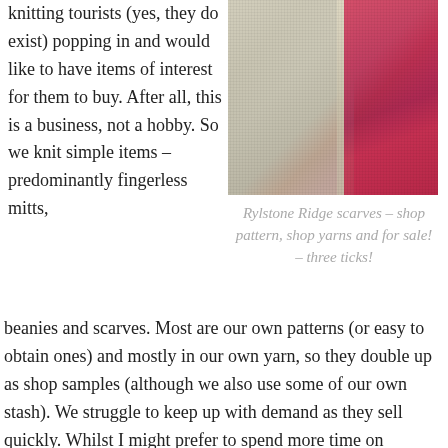knitting tourists (yes, they do exist) popping in and would like to have items of interest for them to buy. After all, this is a business, not a hobby. So we knit simple items – predominantly fingerless mitts,
[Figure (photo): Close-up photo of knitted scarves in beige/cream and pink/magenta colors showing knit texture]
Rylstone Ridge scarves – shop pattern, shop yarns and for sale! – three ticks!
beanies and scarves. Most are our own patterns (or easy to obtain ones) and mostly in our own yarn, so they double up as shop samples (although we also use some of our own stash). We struggle to keep up with demand as they sell quickly. Whilst I might prefer to spend more time on challenging  knitting, it's rewarding